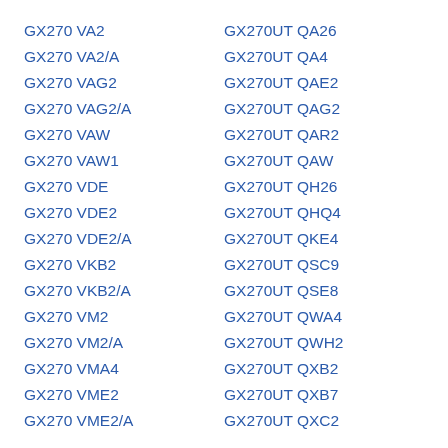GX270 VA2
GX270 VA2/A
GX270 VAG2
GX270 VAG2/A
GX270 VAW
GX270 VAW1
GX270 VDE
GX270 VDE2
GX270 VDE2/A
GX270 VKB2
GX270 VKB2/A
GX270 VM2
GX270 VM2/A
GX270 VMA4
GX270 VME2
GX270 VME2/A
GX270UT QA26
GX270UT QA4
GX270UT QAE2
GX270UT QAG2
GX270UT QAR2
GX270UT QAW
GX270UT QH26
GX270UT QHQ4
GX270UT QKE4
GX270UT QSC9
GX270UT QSE8
GX270UT QWA4
GX270UT QWH2
GX270UT QXB2
GX270UT QXB7
GX270UT QXC2